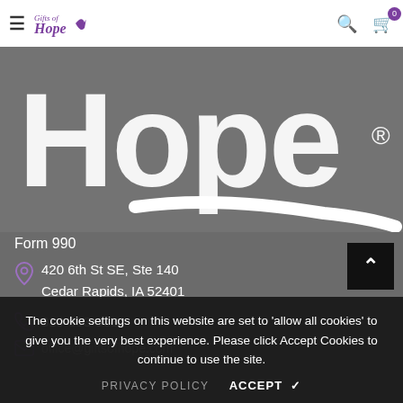≡ Gifts of Hope  🔍 🛒 0
[Figure (logo): Large white 'Hope' text logo with registered trademark symbol and swoosh on gray background]
Form 990
420 6th St SE, Ste 140
Cedar Rapids, IA 52401
319-393-9681
office@giftsofhope.com
The cookie settings on this website are set to 'allow all cookies' to give you the very best experience. Please click Accept Cookies to continue to use the site.
PRIVACY POLICY   ACCEPT ✔